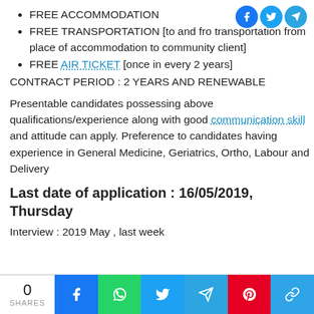FREE ACCOMMODATION
FREE TRANSPORTATION [to and fro transportation from place of accommodation to community client]
FREE AIR TICKET [once in every 2 years]
CONTRACT PERIOD : 2 YEARS AND RENEWABLE
Presentable candidates possessing above qualifications/experience along with good communication skill and attitude can apply. Preference to candidates having experience in General Medicine, Geriatrics, Ortho, Labour and Delivery
Last date of application : 16/05/2019, Thursday
Interview : 2019 May , last week
[Figure (infographic): Bottom social sharing bar with share count (0 SHARES), Facebook, WhatsApp, Twitter, Telegram, Pinterest, and copy-link buttons]